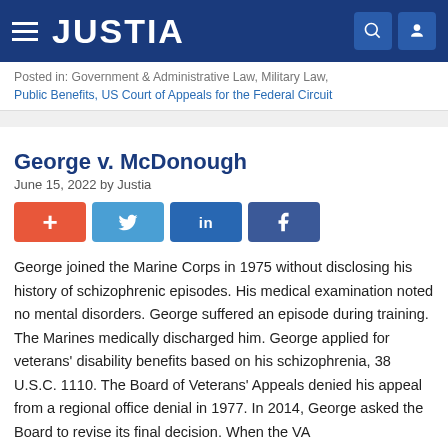JUSTIA
Posted in: Government & Administrative Law, Military Law, Public Benefits, US Court of Appeals for the Federal Circuit
George v. McDonough
June 15, 2022 by Justia
George joined the Marine Corps in 1975 without disclosing his history of schizophrenic episodes. His medical examination noted no mental disorders. George suffered an episode during training. The Marines medically discharged him. George applied for veterans' disability benefits based on his schizophrenia, 38 U.S.C. 1110. The Board of Veterans' Appeals denied his appeal from a regional office denial in 1977. In 2014, George asked the Board to revise its final decision. When the VA